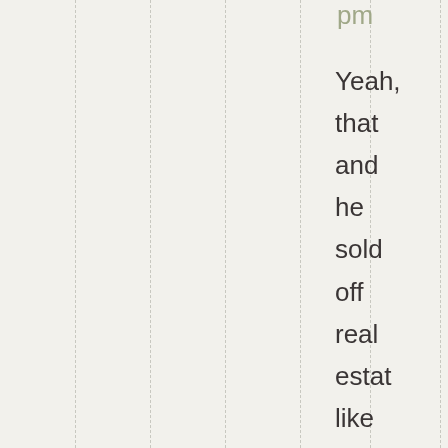pm
Yeah, that and he sold off real estate like crazy. Lamp fund didn't unde what